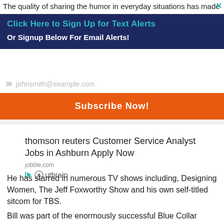The quality of sharing the humor in everyday situations has made
Click Here to Sign Up for Text Alerts
Or Signup Below For Email Alerts!
johnsmith@example.com
Subscribe Now!
[Figure (infographic): Advertisement: thomson reuters Customer Service Analyst Jobs in Ashburn Apply Now. Source: jobble.com. Outbrain sponsored content logo.]
He has starred in numerous TV shows including, Designing Women, The Jeff Foxworthy Show and his own self-titled sitcom for TBS.
Bill was part of the enormously successful Blue Collar Comedy concert films which are some of the most watched movies and